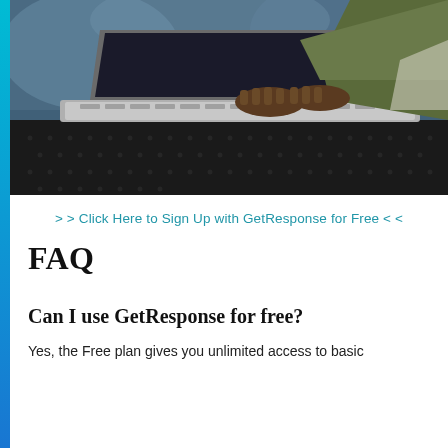[Figure (photo): Person in olive/khaki jacket typing on a laptop placed on a metal mesh table, outdoor setting with blurred city/water background. Close-up shot focusing on hands and laptop keyboard.]
>> Click Here to Sign Up with GetResponse for Free <<
FAQ
Can I use GetResponse for free?
Yes, the Free plan gives you unlimited access to basic